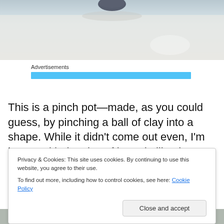[Figure (photo): Top portion of a pinch pot ceramic piece on a white textured surface, viewed from above. Only the base/bottom of the pot is visible at the top of the image.]
Advertisements
This is a pinch pot—made, as you could guess, by pinching a ball of clay into a shape. While it didn't come out even, I'm happy with the size of it, and I like the base. I
Privacy & Cookies: This site uses cookies. By continuing to use this website, you agree to their use.
To find out more, including how to control cookies, see here: Cookie Policy

Close and accept